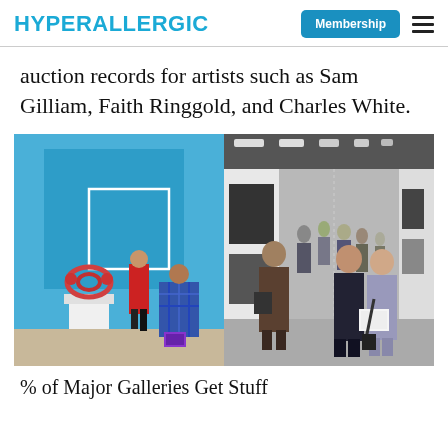HYPERALLERGIC — Membership
auction records for artists such as Sam Gilliam, Faith Ringgold, and Charles White.
[Figure (photo): Two-panel composite photo: left panel shows an art fair gallery booth with a large blue abstract painting on the wall, a pretzel-shaped sculpture on a white pedestal, a woman in a red coat, and a man in a blue plaid shirt viewed from behind. Right panel shows a crowded art fair hallway with visitors walking past white gallery booths under industrial ceiling lights, with two figures in the foreground looking at a booklet.]
% of Major Galleries Get Stuff